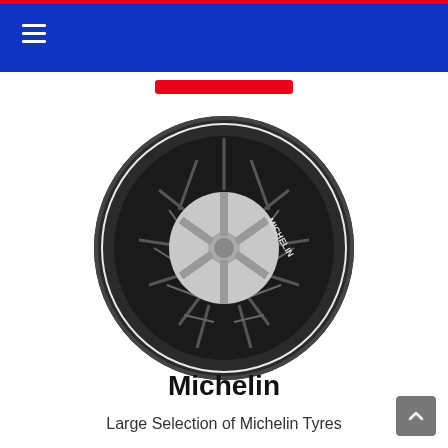Navigation header with hamburger menu
[Figure (photo): Michelin tyre (all-terrain/SUV type) with distinctive geometric tread pattern and silver alloy wheel, viewed at a three-quarter angle on white background]
Michelin
Large Selection of Michelin Tyres